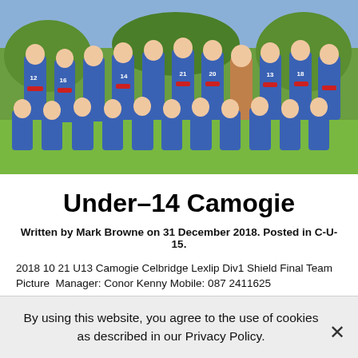[Figure (photo): Group team photo of Under-14 Camogie players in blue jerseys with white shorts, posing on a grass field. Multiple rows of young players, some crouching, some standing.]
Under-14 Camogie
Written by Mark Browne on 31 December 2018. Posted in C-U-15.
2018 10 21 U13 Camogie Celbridge Lexlip Div1 Shield Final Team Picture  Manager: Conor Kenny Mobile: 087 2411625
By using this website, you agree to the use of cookies as described in our Privacy Policy.